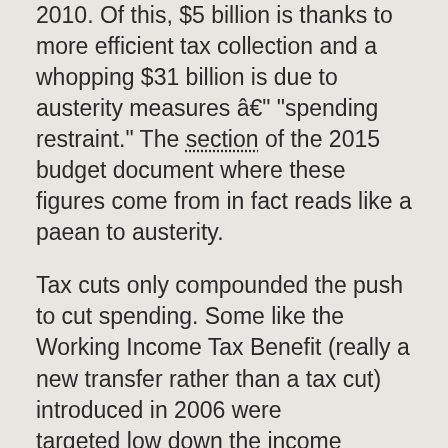2010. Of this, $5 billion is thanks to more efficient tax collection and a whopping $31 billion is due to austerity measures â€" "spending restraint." The section of the 2015 budget document where these figures come from in fact reads like a paean to austerity.
Tax cuts only compounded the push to cut spending. Some like the Working Income Tax Benefit (really a new transfer rather than a tax cut) introduced in 2006 were targeted low down the income spectrum. Changes like this softened the blow of a falling social wage in the form of public services with a cash benefit and served to boost the consumption spending driving the last pre-crisis cycle of economic growth. There were also universal tax reductions, so-called boutique tax credits aimed at particular groups drawn largely from the wealthier end of the